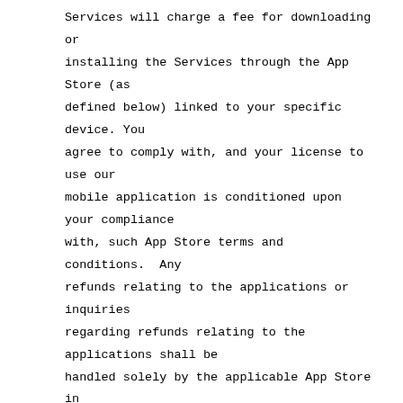Services will charge a fee for downloading or installing the Services through the App Store (as defined below) linked to your specific device. You agree to comply with, and your license to use our mobile application is conditioned upon your compliance with, such App Store terms and conditions.  Any refunds relating to the applications or inquiries regarding refunds relating to the applications shall be handled solely by the applicable App Store in accordance with such App Store's terms and conditions.
2. Billing. We use a third-party payment processor (the "Payment Processor") to bill you through a payment account linked to your account on the Services (your "Billing Account") for use of the Paid Services. The processing of payments will be subject to the terms,